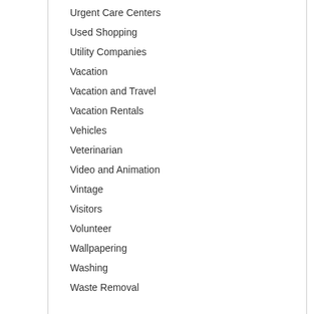Urgent Care Centers
Used Shopping
Utility Companies
Vacation
Vacation and Travel
Vacation Rentals
Vehicles
Veterinarian
Video and Animation
Vintage
Visitors
Volunteer
Wallpapering
Washing
Waste Removal